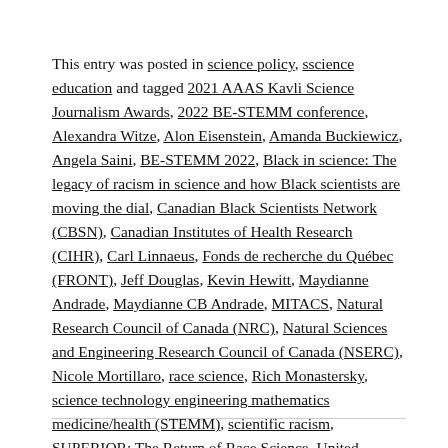This entry was posted in science policy, sscience education and tagged 2021 AAAS Kavli Science Journalism Awards, 2022 BE-STEMM conference, Alexandra Witze, Alon Eisenstein, Amanda Buckiewicz, Angela Saini, BE-STEMM 2022, Black in science: The legacy of racism in science and how Black scientists are moving the dial, Canadian Black Scientists Network (CBSN), Canadian Institutes of Health Research (CIHR), Carl Linnaeus, Fonds de recherche du Québec (FRONT), Jeff Douglas, Kevin Hewitt, Maydianne Andrade, Maydianne CB Andrade, MITACS, Natural Research Council of Canada (NRC), Natural Sciences and Engineering Research Council of Canada (NSERC), Nicole Mortillaro, race science, Rich Monastersky, science technology engineering mathematics medicine/health (STEMM), scientific racism, SUPERIOR: The Return of Race Science, United Nations Report of the Working Group of Experts on People of African Descent on its mission to Canada on November 17, 2021.